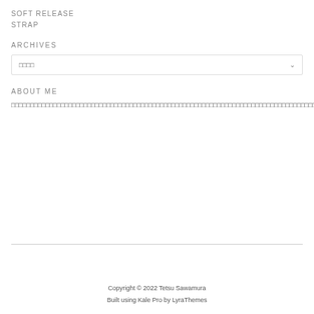SOFT RELEASE
STRAP
ARCHIVES
[Figure (other): Dropdown select box with Japanese text placeholder and chevron arrow]
ABOUT ME
□□□□□□□□□□□□□□□□□□□□□□□□□□□□□□□□□□□□□□□□□□□□□□□□□□□□□□□□□□□□□□□□□□□□□□□□□□□□□□□□□□□□□□□□□□□□□□□□□□□□□□□□□□□□□□□□□□□□□□□□□□□□□□□□□□□□□□□□□□□□□□□□□□□□□□□□□□□□□□□□□□□□□□□□
Copyright © 2022 Tetsu Sawamura
Built using Kale Pro by LyraThemes